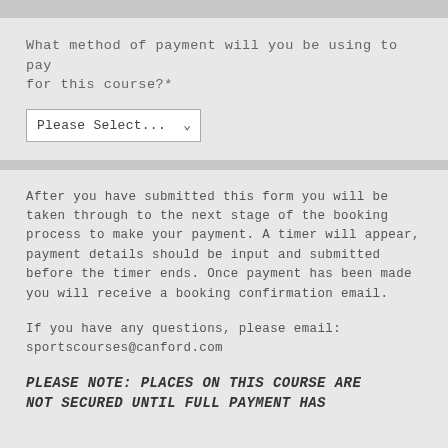What method of payment will you be using to pay for this course?*
[Figure (other): Dropdown select input with label 'Please Select...']
After you have submitted this form you will be taken through to the next stage of the booking process to make your payment. A timer will appear, payment details should be input and submitted before the timer ends. Once payment has been made you will receive a booking confirmation email.
If you have any questions, please email: sportscourses@canford.com
PLEASE NOTE: PLACES ON THIS COURSE ARE NOT SECURED UNTIL FULL PAYMENT HAS